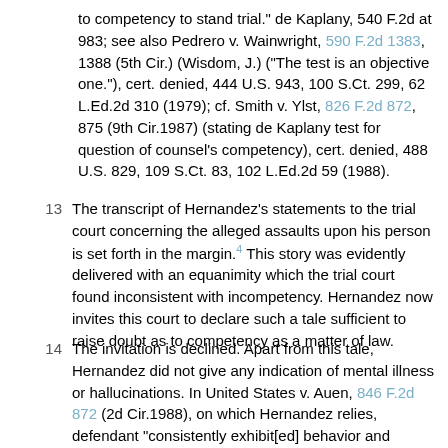to competency to stand trial." de Kaplany, 540 F.2d at 983; see also Pedrero v. Wainwright, 590 F.2d 1383, 1388 (5th Cir.) (Wisdom, J.) ("The test is an objective one."), cert. denied, 444 U.S. 943, 100 S.Ct. 299, 62 L.Ed.2d 310 (1979); cf. Smith v. Ylst, 826 F.2d 872, 875 (9th Cir.1987) (stating de Kaplany test for question of counsel's competency), cert. denied, 488 U.S. 829, 109 S.Ct. 83, 102 L.Ed.2d 59 (1988).
The transcript of Hernandez's statements to the trial court concerning the alleged assaults upon his person is set forth in the margin.4 This story was evidently delivered with an equanimity which the trial court found inconsistent with incompetency. Hernandez now invites this court to declare such a tale sufficient to raise doubt as to competency as a matter of law.
The invitation is declined. Apart from this tale, Hernandez did not give any indication of mental illness or hallucinations. In United States v. Auen, 846 F.2d 872 (2d Cir.1988), on which Hernandez relies, defendant "consistently exhibit[ed] behavior and beliefs" of an extraordinarily bizarre nature. Id. at 878. While Hernandez's beliefs were undeniably weird, there was nothing like Auen 's extended